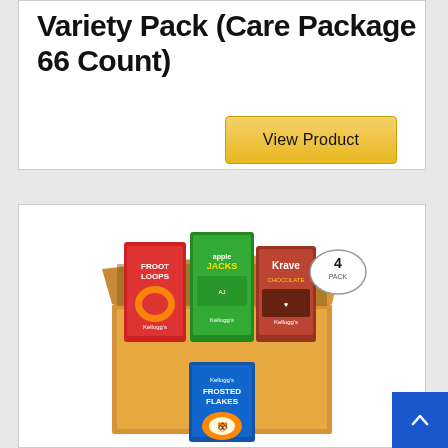Variety Pack (Care Package 66 Count)
View Product
NO. 7
[Figure (photo): Product photo of Kellogg's cereal variety pack in a cardboard box, showing Froot Loops, Apple Jacks, Krave Chocolate boxes inside, with Frosted Flakes box in front, and a '4 pack' badge.]